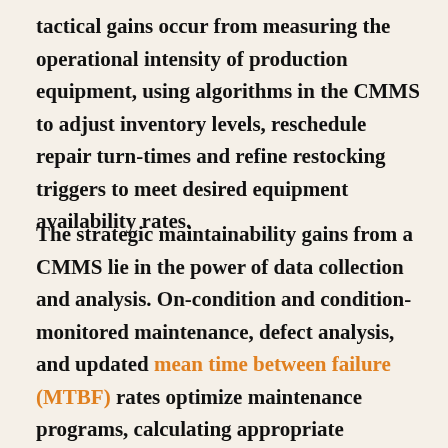tactical gains occur from measuring the operational intensity of production equipment, using algorithms in the CMMS to adjust inventory levels, reschedule repair turn-times and refine restocking triggers to meet desired equipment availability rates.
The strategic maintainability gains from a CMMS lie in the power of data collection and analysis. On-condition and condition-monitored maintenance, defect analysis, and updated mean time between failure (MTBF) rates optimize maintenance programs, calculating appropriate inventory levels and targeting necessary technician interventions. Engineering analysis from linked maintenance data allows ongoing cost-benefit analyses, informing such decisions